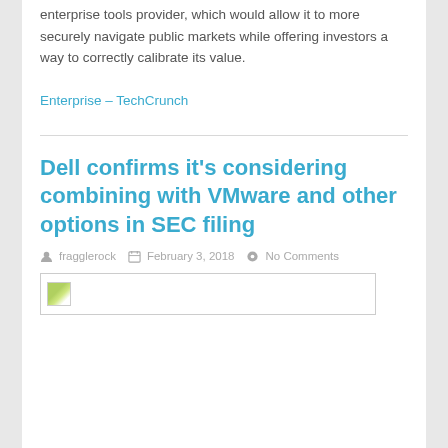enterprise tools provider, which would allow it to more securely navigate public markets while offering investors a way to correctly calibrate its value.
Enterprise – TechCrunch
Dell confirms it's considering combining with VMware and other options in SEC filing
fragglerock  February 3, 2018  No Comments
[Figure (photo): Thumbnail image placeholder for article]